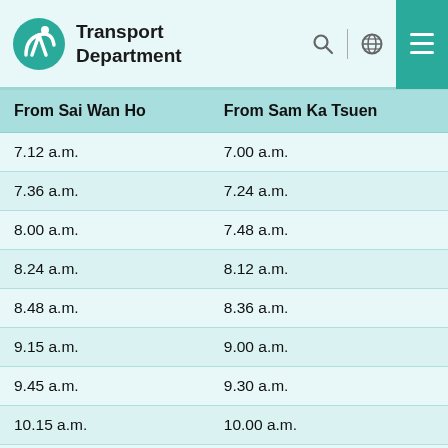Transport Department
| From Sai Wan Ho | From Sam Ka Tsuen |
| --- | --- |
| 7.12 a.m. | 7.00 a.m. |
| 7.36 a.m. | 7.24 a.m. |
| 8.00 a.m. | 7.48 a.m. |
| 8.24 a.m. | 8.12 a.m. |
| 8.48 a.m. | 8.36 a.m. |
| 9.15 a.m. | 9.00 a.m. |
| 9.45 a.m. | 9.30 a.m. |
| 10.15 a.m. | 10.00 a.m. |
| 10.45 a.m. | 10.30 a.m. |
| 11.15 a.m. | 11.00 a.m. |